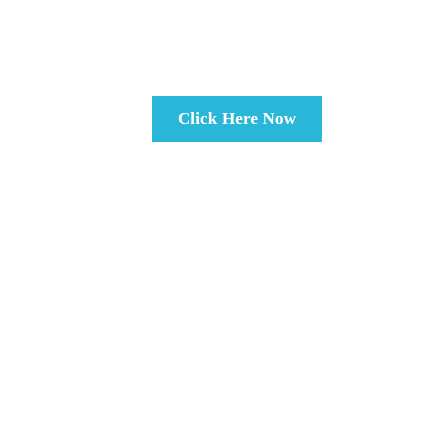[Figure (other): A cyan/sky-blue rectangular button with white bold text reading 'Click Here Now', centered in the upper-middle portion of the page.]